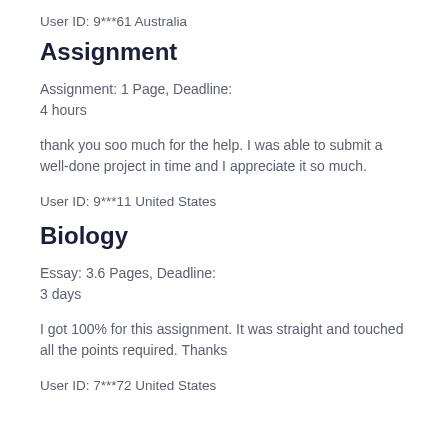User ID: 9***61 Australia
Assignment
Assignment: 1 Page, Deadline:
4 hours
thank you soo much for the help. I was able to submit a well-done project in time and I appreciate it so much.
User ID: 9***11 United States
Biology
Essay: 3.6 Pages, Deadline:
3 days
I got 100% for this assignment. It was straight and touched all the points required. Thanks
User ID: 7***72 United States